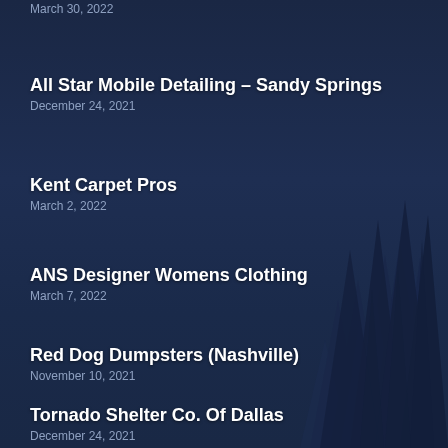March 30, 2022
All Star Mobile Detailing – Sandy Springs
December 24, 2021
Kent Carpet Pros
March 2, 2022
ANS Designer Womens Clothing
March 7, 2022
Red Dog Dumpsters (Nashville)
November 10, 2021
Tornado Shelter Co. Of Dallas
December 24, 2021